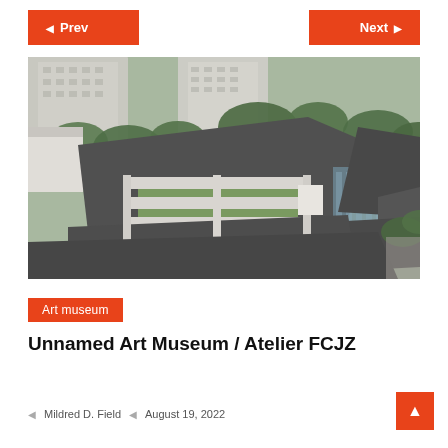Prev  Next
[Figure (photo): Aerial view of the Unnamed Art Museum / Atelier FCJZ showing a complex of low-rise concrete and dark-roofed buildings with open courtyards, surrounded by trees and taller residential buildings in the background.]
Art museum
Unnamed Art Museum / Atelier FCJZ
Mildred D. Field   August 19, 2022